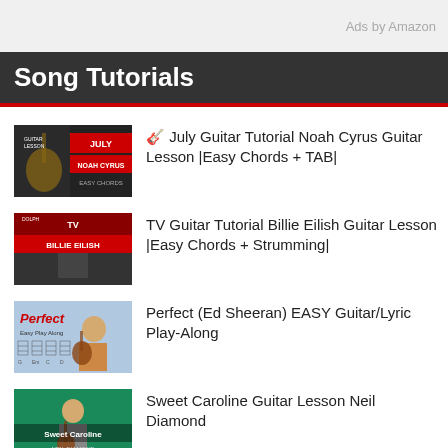Ads by Amazon
Song Tutorials
[Figure (screenshot): Thumbnail for July Guitar Tutorial Noah Cyrus Guitar Lesson - shows guitar and text JULY NOAH CYRUS EASY CHORDS]
🎸 July Guitar Tutorial Noah Cyrus Guitar Lesson |Easy Chords + TAB|
[Figure (screenshot): Thumbnail for TV Guitar Tutorial Billie Eilish - shows guitar player with text TV BILLIE EILISH]
TV Guitar Tutorial Billie Eilish Guitar Lesson |Easy Chords + Strumming|
[Figure (screenshot): Thumbnail for Perfect Ed Sheeran - shows Ed Sheeran with guitar, text Perfect Easy Play Along]
Perfect (Ed Sheeran) EASY Guitar/Lyric Play-Along
[Figure (screenshot): Thumbnail for Sweet Caroline Guitar Lesson Neil Diamond - shows guitar player with text Sweet Caroline NEIL DIAMOND]
Sweet Caroline Guitar Lesson Neil Diamond